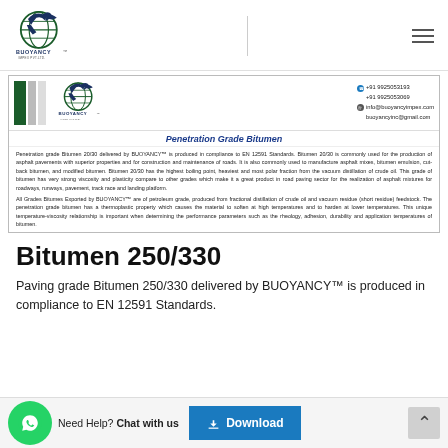[Figure (logo): Buoyancy Impex Pvt. Ltd. logo with eagle and globe in top navigation bar]
[Figure (logo): Buoyancy Impex Pvt. Ltd. logo in document header with contact info]
Penetration Grade Bitumen
Penetration grade Bitumen 20/30 delivered by BUOYANCY™ is produced in compliance to EN 12591 Standards. Bitumen 20/30 is commonly used for the production of asphalt pavements with superior properties and for construction and maintenance of roads. It is also commonly used to manufacture asphalt mixes, bitumen emulsion, cut-back bitumen, and modified bitumen. Bitumen 20/30 has the highest boiling point, heaviest and most polar fraction from the vacuum distillation of crude oil. This grade of bitumen has very strong viscosity and plasticity compare to other grades which make it a great product in road paving sector for the realization of asphalt mixtures for roadways, runways, pavement, track race and landing platform.
All Grades Bitumes Exported by BUOYANCY™ are of petroleum grade, produced from fractional distillation of crude oil and vacuum residue (short residue) feedstock. The penetration grade bitumen has a thermoplastic property which causes the material to soften at high temperatures and to harden at lower temperatures. This unique temperature-viscosity relationship is important when determining the performance parameters such as the rheology, adhesion, durability and application temperatures of bitumen.
Bitumen 250/330
Paving grade Bitumen 250/330 delivered by BUOYANCY™ is produced in compliance to EN 12591 Standards.
Need Help? Chat with us
Download